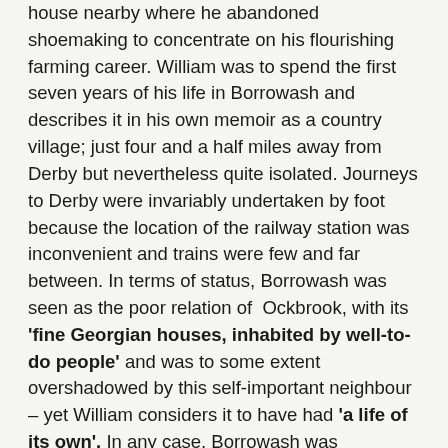house nearby where he abandoned shoemaking to concentrate on his flourishing farming career. William was to spend the first seven years of his life in Borrowash and describes it in his own memoir as a country village; just four and a half miles away from Derby but nevertheless quite isolated. Journeys to Derby were invariably undertaken by foot because the location of the railway station was inconvenient and trains were few and far between. In terms of status, Borrowash was seen as the poor relation of Ockbrook, with its 'fine Georgian houses, inhabited by well-to-do people' and was to some extent overshadowed by this self-important neighbour – yet William considers it to have had 'a life of its own'. In any case, Borrowash was developing in a way that would have been inconceivable to William's father, Jabez when